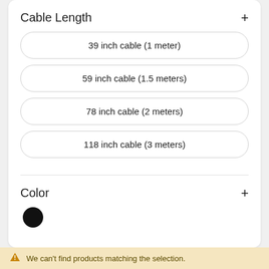Cable Length
39 inch cable (1 meter)
59 inch cable (1.5 meters)
78 inch cable (2 meters)
118 inch cable (3 meters)
Color
[Figure (illustration): Black filled circle representing a color swatch]
We can't find products matching the selection.